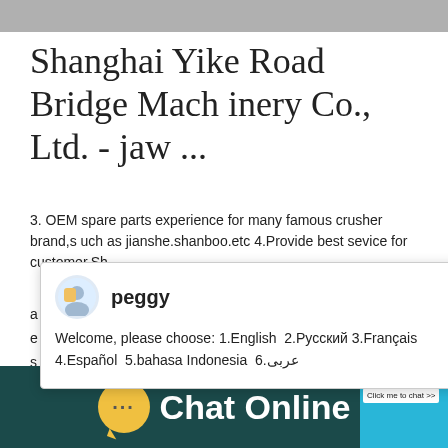[Figure (screenshot): Top gray banner image strip]
Shanghai Yike Road Bridge Machinery Co., Ltd. - jaw ...
3. OEM spare parts experience for many famous crusher brand,such as jianshe.shanboo.etc 4.Provide best sevice for customer.Sh
nce and develop in high speed .
Capacity
499T/H
Reviews
[Figure (screenshot): Chat popup with avatar of peggy and welcome message: Welcome, please choose: 1.English 2.Русский 3.Français 4.Español 5.bahasa Indonesia 6.عربی with close X button]
[Figure (screenshot): Right side chat widget with blue background, colored pins, angry emoji, number 1, Click me to chat >> button]
[Figure (screenshot): Bottom dark teal bar with yellow chat bubble icon and Chat Online text]